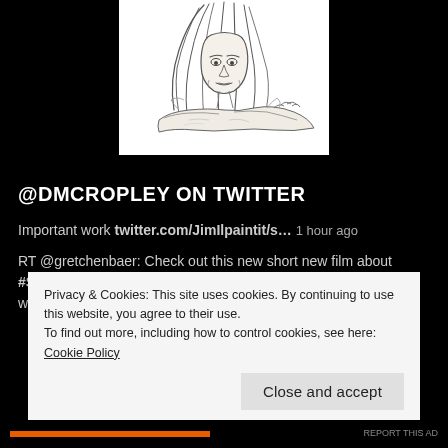[Figure (illustration): Pencil sketch drawing of a person with long hair resting their chin on crossed arms, looking forward with an expressive face.]
@DMCROPLEY ON TWITTER
Important work twitter.com/JimIlpaintit/s… 1 hour ago
RT @gretchenbaer: Check out this new short new film about #StudioMariposa and painting the Mexican side of the border wall with kids by @ke… 16 hours ago
Privacy & Cookies: This site uses cookies. By continuing to use this website, you agree to their use.
To find out more, including how to control cookies, see here: Cookie Policy
Close and accept